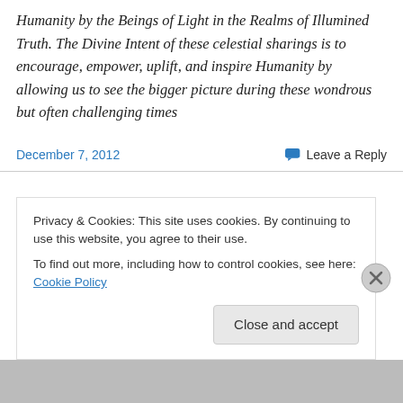Humanity by the Beings of Light in the Realms of Illumined Truth. The Divine Intent of these celestial sharings is to encourage, empower, uplift, and inspire Humanity by allowing us to see the bigger picture during these wondrous but often challenging times
December 7, 2012
Leave a Reply
Lee Harris's October Energy Forecast
Privacy & Cookies: This site uses cookies. By continuing to use this website, you agree to their use.
To find out more, including how to control cookies, see here: Cookie Policy
Close and accept